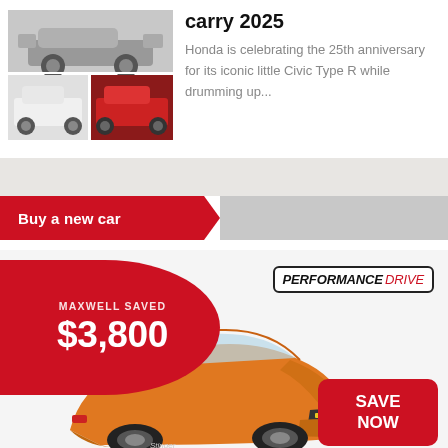[Figure (photo): Three Honda Civic cars shown in a grid: top spanning two columns shows a silver SUV, bottom-left shows a white hatchback Type R, bottom-right shows a red sedan Type R]
carry 2025
Honda is celebrating the 25th anniversary for its iconic little Civic Type R while drumming up...
Buy a new car
[Figure (infographic): Car dealership advertisement showing a red semicircle badge with 'MAXWELL SAVED $3,800', Performance Drive logo, an orange Kia Stinger car, and a red 'SAVE NOW' button]